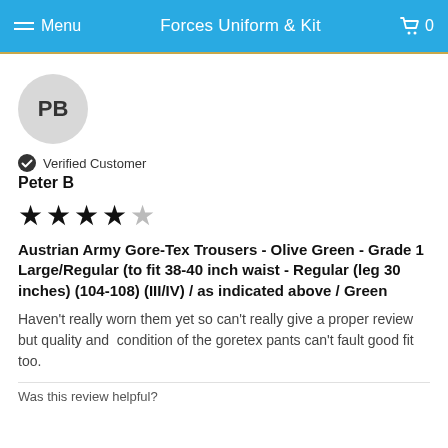Menu  Forces Uniform & Kit  0
[Figure (illustration): Circular avatar with initials PB on grey background]
Verified Customer
Peter B
[Figure (other): 4 out of 5 stars rating]
Austrian Army Gore-Tex Trousers - Olive Green - Grade 1 Large/Regular (to fit 38-40 inch waist - Regular (leg 30 inches) (104-108) (III/IV) / as indicated above / Green
Haven't really worn them yet so can't really give a proper review but quality and  condition of the goretex pants can't fault good fit too.
Was this review helpful?